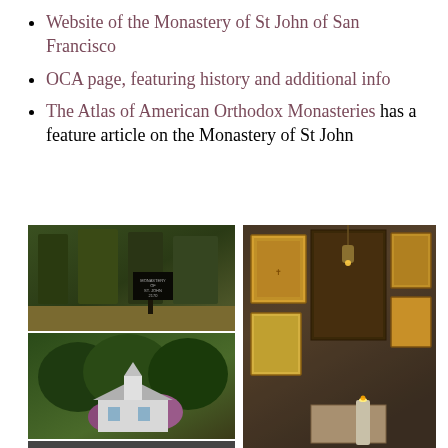Website of the Monastery of St John of San Francisco
OCA page, featuring history and additional info
The Atlas of American Orthodox Monasteries has a feature article on the Monastery of St John
[Figure (photo): Exterior sign for the Monastery of St John surrounded by trees]
[Figure (photo): Building with white chapel structure surrounded by green trees and flowering bushes]
[Figure (photo): Close-up image partially visible at bottom left]
[Figure (photo): Interior wall of the monastery displaying multiple Orthodox icons and a lit candle]